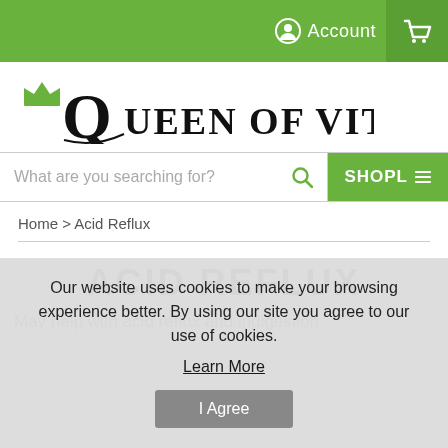Account  [cart icon]
[Figure (logo): Queen Of Vitamins logo with crown above Q letter]
What are you searching for?  SHOPL
Home > Acid Reflux
ACID REFLUX
May help with acid reflux and indigestion.
Our website uses cookies to make your browsing experience better. By using our site you agree to our use of cookies. Learn More
I Agree